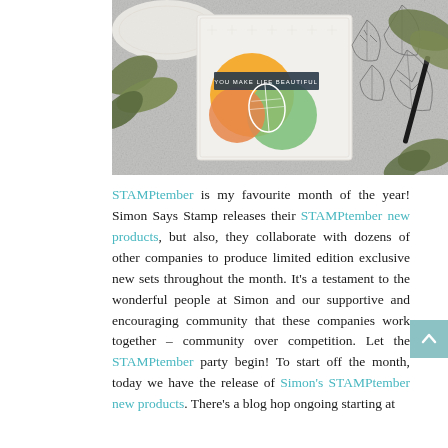[Figure (photo): Flat lay photo of handmade cards and stamps on a gray surface with greenery. One card features orange circles and a leaf stamp with text 'YOU MAKE LIFE BEAUTIFUL'. Clear acrylic leaf stamps are visible on the right.]
STAMPtember is my favourite month of the year! Simon Says Stamp releases their STAMPtember new products, but also, they collaborate with dozens of other companies to produce limited edition exclusive new sets throughout the month. It's a testament to the wonderful people at Simon and our supportive and encouraging community that these companies work together – community over competition. Let the STAMPtember party begin! To start off the month, today we have the release of Simon's STAMPtember new products. There's a blog hop ongoing starting at